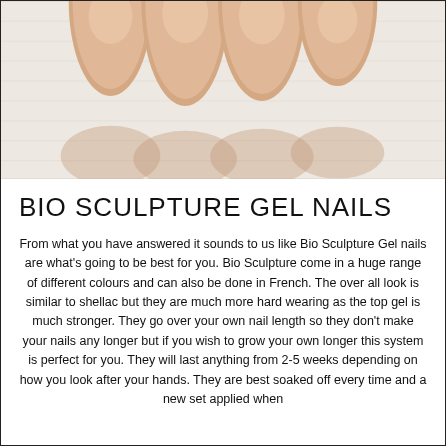[Figure (photo): Close-up photo of fingers resting on a white fluffy towel, showing natural nails from above on a white textured background.]
BIO SCULPTURE GEL NAILS
From what you have answered it sounds to us like Bio Sculpture Gel nails are what's going to be best for you. Bio Sculpture come in a huge range of different colours and can also be done in French. The over all look is similar to shellac but they are much more hard wearing as the top gel is much stronger. They go over your own nail length so they don't make your nails any longer but if you wish to grow your own longer this system is perfect for you. They will last anything from 2-5 weeks depending on how you look after your hands. They are best soaked off every time and a new set applied when